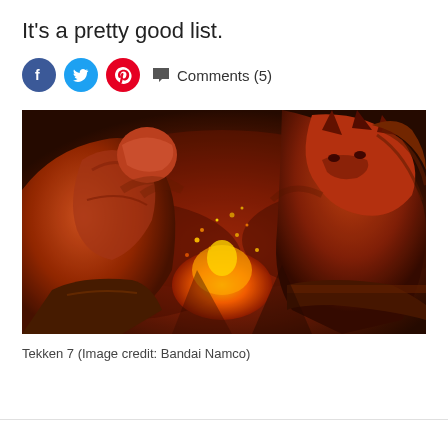It's a pretty good list.
[Figure (infographic): Social share bar with Facebook, Twitter, Pinterest icons and Comments (5) link]
[Figure (photo): Tekken 7 screenshot showing two muscular fighters facing each other with fire and embers in a dark smoky background. Left fighter is a human male with tattoos, right fighter is a demonic/beast-like creature.]
Tekken 7 (Image credit: Bandai Namco)